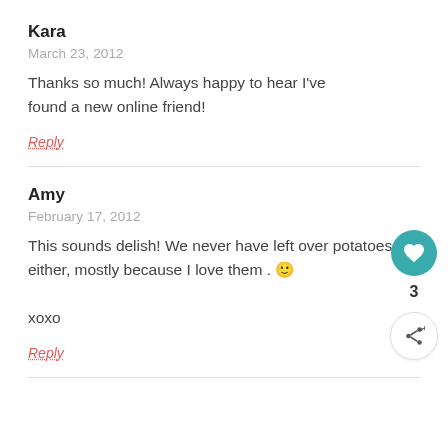Kara
March 23, 2012
Thanks so much! Always happy to hear I've found a new online friend!
Reply
Amy
February 17, 2012
This sounds delish! We never have left over potatoes either, mostly because I love them . 🙂
xoxo
Reply
[Figure (infographic): Circular teal button with white heart icon (like/favorite button), count of 3 below, and circular share button below that]